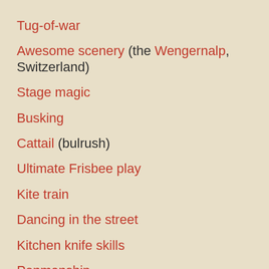Tug-of-war
Awesome scenery (the Wengernalp, Switzerland)
Stage magic
Busking
Cattail (bulrush)
Ultimate Frisbee play
Kite train
Dancing in the street
Kitchen knife skills
Penmanship
Gulper catfish